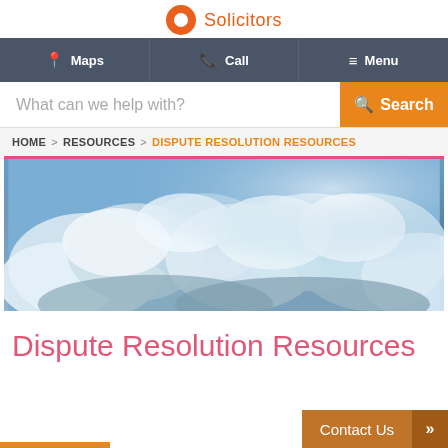[Figure (logo): Law firm logo with orange circle and 'Solicitors' text]
Maps | Call | Menu
What can we help with?
HOME > RESOURCES > DISPUTE RESOLUTION RESOURCES
[Figure (photo): Wide panoramic photo of dramatic cloudy sky with sunlight breaking through white clouds against blue sky]
Dispute Resolution Resources
Contact Us »